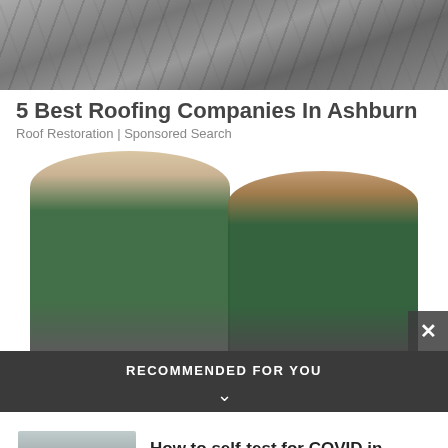[Figure (photo): Close-up photo of cracked and worn roofing shingles]
5 Best Roofing Companies In Ashburn
Roof Restoration | Sponsored Search
[Figure (photo): Two young women eating ice cream in front of a colorful graffiti wall]
RECOMMENDED FOR YOU
[Figure (photo): Thumbnail image of people in a line, likely a COVID testing queue in Japan]
How to self-test for COVID in Japan, and which antigen kits to use